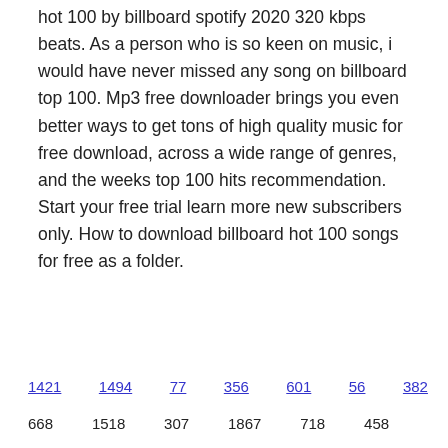hot 100 by billboard spotify 2020 320 kbps beats. As a person who is so keen on music, i would have never missed any song on billboard top 100. Mp3 free downloader brings you even better ways to get tons of high quality music for free download, across a wide range of genres, and the weeks top 100 hits recommendation. Start your free trial learn more new subscribers only. How to download billboard hot 100 songs for free as a folder.
1421   1494   77   356   601   56   382